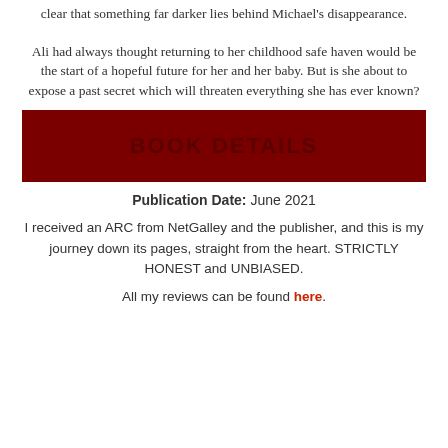clear that something far darker lies behind Michael's disappearance.
Ali had always thought returning to her childhood safe haven would be the start of a hopeful future for her and her baby. But is she about to expose a past secret which will threaten everything she has ever known?
[Figure (other): Dark red banner with bold text reading BOOK DETAILS]
Publication Date: June 2021
I received an ARC from NetGalley and the publisher, and this is my journey down its pages, straight from the heart. STRICTLY HONEST and UNBIASED.
All my reviews can be found here.